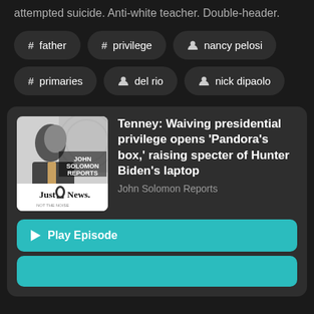attempted suicide. Anti-white teacher. Double-header.
# father
# privilege
nancy pelosi
# primaries
del rio
nick dipaolo
[Figure (screenshot): John Solomon Reports podcast card with episode title: Tenney: Waiving presidential privilege opens 'Pandora's box,' raising specter of Hunter Biden's laptop]
John Solomon Reports
Play Episode